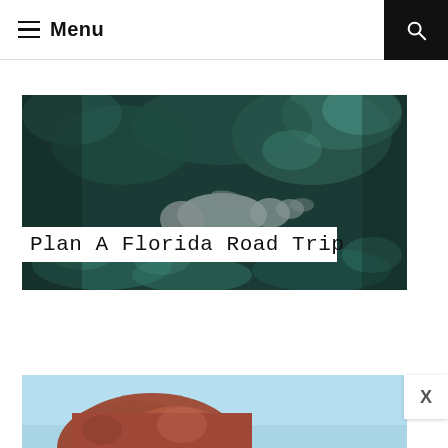≡ Menu
[Figure (photo): Aerial/underwater view of a manatee swimming in dark teal-green water, seen from above. The image is wide and spans the top portion of the content area, with the lower-left portion showing teal water with lighter patches.]
Plan A Florida Road Trip
[Figure (photo): Partially visible photo at the bottom of the page showing what appears to be a red rock formation or butte against a light blue sky.]